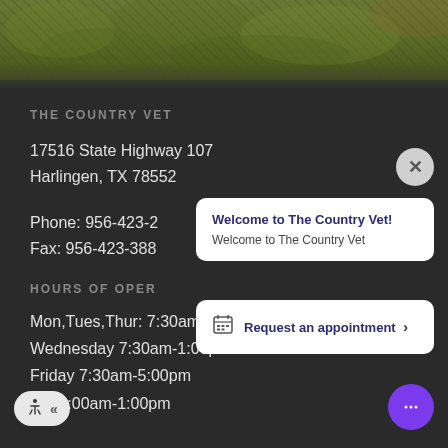[Figure (photo): Aerial or outdoor nature photo strip at top of page, showing green/yellow foliage]
THE COUNTRY VET
17516 State Highway 107
Harlingen, TX 78552
Phone: 956-423-2...
Fax: 956-423-388...
HOURS OF OPER...
Mon,Tues,Thur: 7:30am-5:30pm
Wednesday 7:30am-1:00pm
Friday 7:30am-5:00pm
Sat:8:00am-1:00pm
Welcome to The Country Vet!
Welcome to The Country Vet
Request an appointment >